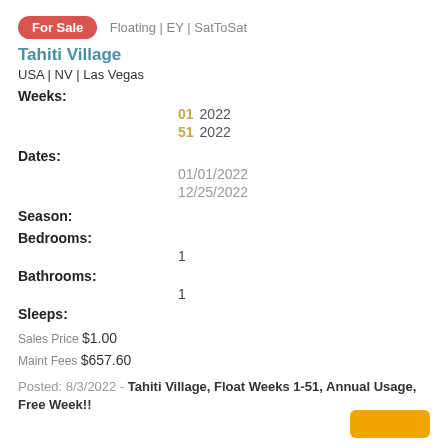For Sale   Floating | EY | SatToSat
Tahiti Village
USA | NV | Las Vegas
Weeks:
01 2022
51 2022
Dates:
01/01/2022
12/25/2022
Season:
Bedrooms:
1
Bathrooms:
1
Sleeps:
Sales Price $1.00
Maint Fees $657.60
Posted: 8/3/2022 - Tahiti Village, Float Weeks 1-51, Annual Usage, Free Week!!